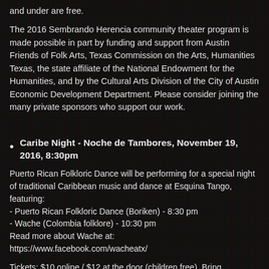and under are free.
The 2016 Sembrando Herencia community theater program is made possible in part by funding and support from Austin Friends of Folk Arts, Texas Commission on the Arts, Humanities Texas, the state affiliate of the National Endowment for the Humanities, and by the Cultural Arts Division of the City of Austin Economic Development Department. Please consider joining the many private sponsors who support our work.
Caribe Night - Noche de Tambores, November 19, 2016, 8:30pm
Puerto Rican Folkloric Dance will be performing for a special night of traditional Caribbean music and dance at Esquina Tango, featuring:
- Puerto Rican Folkloric Dance (Boriken) - 8:30 pm
- Wache (Colombia folklore) - 10:30 pm
Read more about Wache at:
https://www.facebook.com/wacheatx/
Tickets: $10 online / $12 at the door (children free). Bring